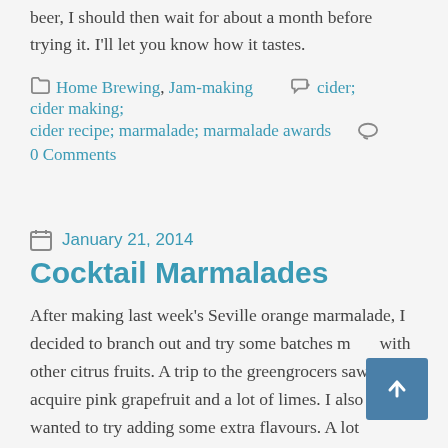beer, I should then wait for about a month before trying it. I'll let you know how it tastes.
Home Brewing, Jam-making   cider; cider making; cider recipe; marmalade; marmalade awards   0 Comments
January 21, 2014
Cocktail Marmalades
After making last week's Seville orange marmalade, I decided to branch out and try some batches m… with other citrus fruits. A trip to the greengrocers saw me acquire pink grapefruit and a lot of limes. I also wanted to try adding some extra flavours. A lot